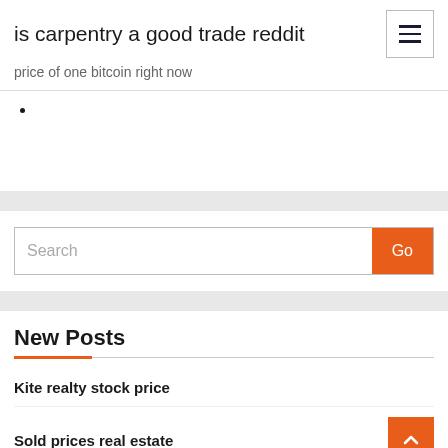is carpentry a good trade reddit
price of one bitcoin right now
•
Search
New Posts
Kite realty stock price
Sold prices real estate